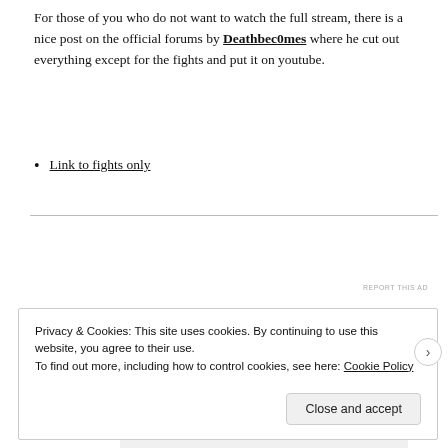For those of you who do not want to watch the full stream, there is a nice post on the official forums by Deathbec0mes where he cut out everything except for the fights and put it on youtube.
Link to fights only
[Figure (other): Advertisement banner for P2 service with text: Getting your team on the same page is easy. And free.]
Privacy & Cookies: This site uses cookies. By continuing to use this website, you agree to their use. To find out more, including how to control cookies, see here: Cookie Policy
Close and accept